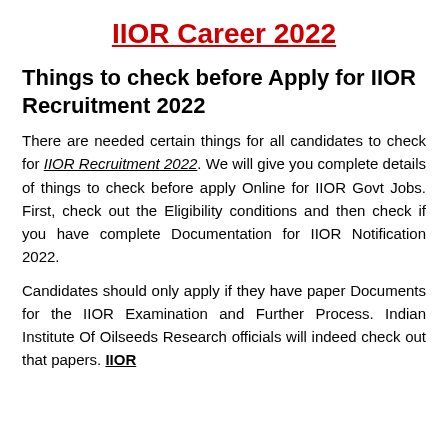IIOR Career 2022
Things to check before Apply for IIOR Recruitment 2022
There are needed certain things for all candidates to check for IIOR Recruitment 2022. We will give you complete details of things to check before apply Online for IIOR Govt Jobs. First, check out the Eligibility conditions and then check if you have complete Documentation for IIOR Notification 2022.
Candidates should only apply if they have paper Documents for the IIOR Examination and Further Process. Indian Institute Of Oilseeds Research officials will indeed check out that papers. IIOR